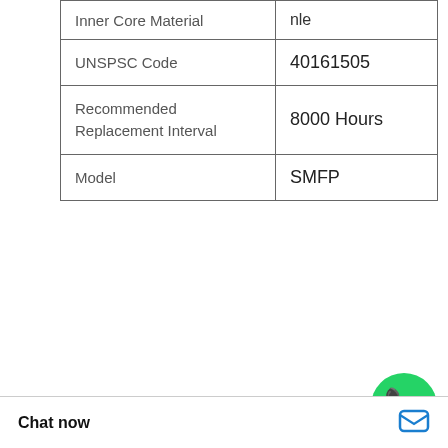| Inner Core Material | nle |
| UNSPSC Code | 40161505 |
| Recommended Replacement Interval | 8000 Hours |
| Model | SMFP |
| Coralfly Air Filter AF25726 1180868 E1500LS CF100 AF26388 P780018 | End Cap Construction:1 Tri-Clamp®; Packaged Volume:Viton®; Packaged Weight:3.632 kg (8.01 lb); Filter Area:92.4 °C (198 °F); Packaged Height:Size 10/30; Anti-Static:144.78 mm (5.70 inch; Current Brand:1/4 NPT with Plug; Former Brand Packaged Width:4 m (17.40 inc; Shape |